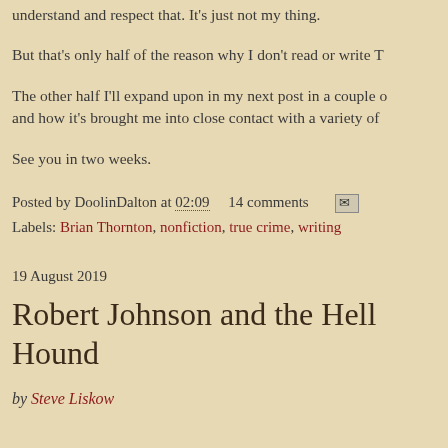understand and respect that. It's just not my thing.
But that's only half of the reason why I don't read or write T
The other half I'll expand upon in my next post in a couple of and how it's brought me into close contact with a variety of
See you in two weeks.
Posted by DoolinDalton at 02:09    14 comments
Labels: Brian Thornton, nonfiction, true crime, writing
19 August 2019
Robert Johnson and the Hell Hound
by Steve Liskow